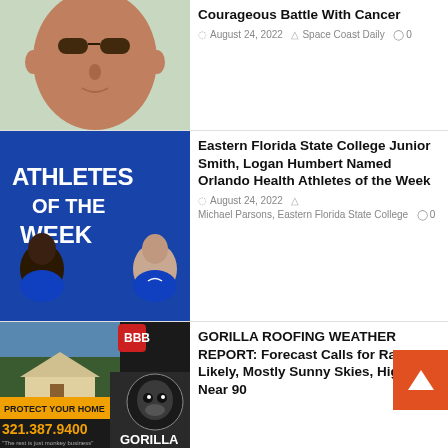[Figure (photo): Close-up photo of a bald man wearing sunglasses outdoors]
Courageous Battle With Cancer
August 24, 2022  Space Coast Daily  0
[Figure (photo): Eastern Florida State College Athletes of the Week promotional image showing two athletes in blue uniforms with text 'ATHLETES OF THE WEEK']
Eastern Florida State College Junior Smith, Logan Humbert Named Orlando Health Athletes of the Week
August 24, 2022  Michael Parsons, Eastern Florida State College  0
[Figure (photo): Gorilla Roofing advertisement with phone number 321.387.9400, BBB logo, and gorilla logo]
GORILLA ROOFING WEATHER REPORT: Forecast Calls for Rain Likely, Mostly Sunny Skies, High Near 90